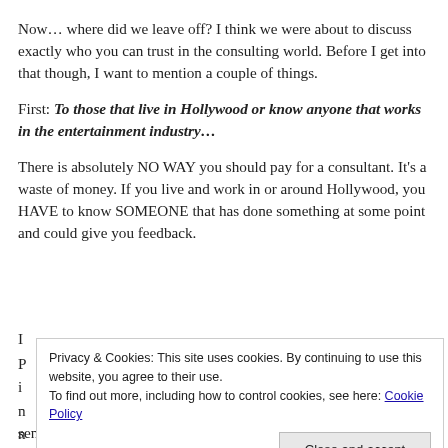Now... where did we leave off? I think we were about to discuss exactly who you can trust in the consulting world. Before I get into that though, I want to mention a couple of things.
First: To those that live in Hollywood or know anyone that works in the entertainment industry...
There is absolutely NO WAY you should pay for a consultant. It's a waste of money. If you live and work in or around Hollywood, you HAVE to know SOMEONE that has done something at some point and could give you feedback.
[partial text obscured by cookie banner]
Privacy & Cookies: This site uses cookies. By continuing to use this website, you agree to their use.
To find out more, including how to control cookies, see here: Cookie Policy
sense?